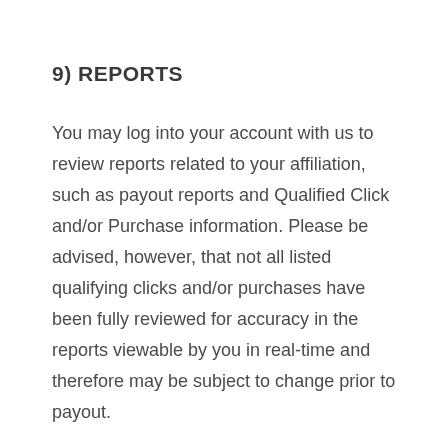9) REPORTS
You may log into your account with us to review reports related to your affiliation, such as payout reports and Qualified Click and/or Purchase information. Please be advised, however, that not all listed qualifying clicks and/or purchases have been fully reviewed for accuracy in the reports viewable by you in real-time and therefore may be subject to change prior to payout.